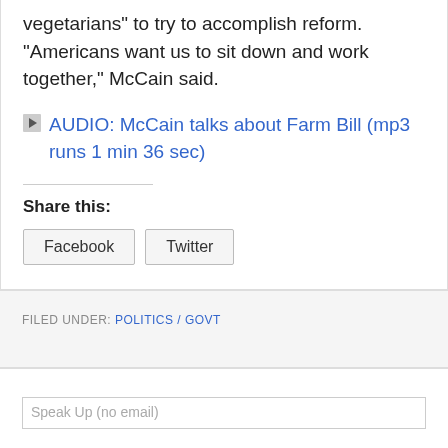vegetarians" to try to accomplish reform. "Americans want us to sit down and work together," McCain said.
AUDIO: McCain talks about Farm Bill (mp3 runs 1 min 36 sec)
Share this:
Facebook   Twitter
FILED UNDER: POLITICS / GOVT